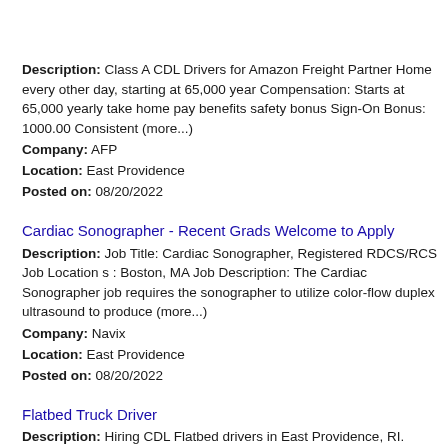Description: Class A CDL Drivers for Amazon Freight Partner Home every other day, starting at 65,000 year Compensation: Starts at 65,000 yearly take home pay benefits safety bonus Sign-On Bonus: 1000.00 Consistent (more...) Company: AFP Location: East Providence Posted on: 08/20/2022
Cardiac Sonographer - Recent Grads Welcome to Apply
Description: Job Title: Cardiac Sonographer, Registered RDCS/RCS Job Location s : Boston, MA Job Description: The Cardiac Sonographer job requires the sonographer to utilize color-flow duplex ultrasound to produce (more...) Company: Navix Location: East Providence Posted on: 08/20/2022
Flatbed Truck Driver
Description: Hiring CDL Flatbed drivers in East Providence, RI. Apply once and choose a trucking job that works for you. Get home when...